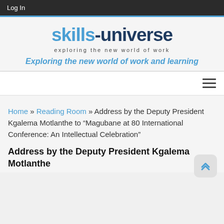Log In
[Figure (logo): Skills-Universe logo with tagline 'exploring the new world of work' and italic subtitle 'Exploring the new world of work and learning']
Home » Reading Room » Address by the Deputy President Kgalema Motlanthe to “Magubane at 80 International Conference: An Intellectual Celebration”
Address by the Deputy President Kgalema Motlanthe